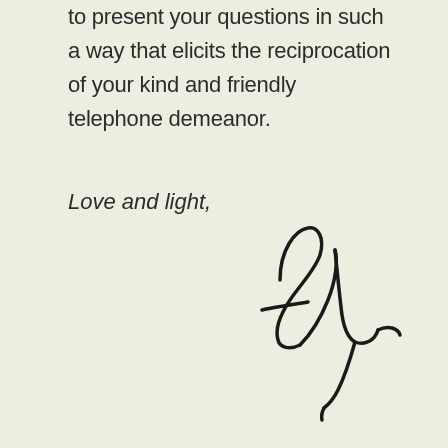to present your questions in such a way that elicits the reciprocation of your kind and friendly telephone demeanor.
Love and light,
[Figure (illustration): Handwritten cursive signature reading 'Aly' in black ink on a cream background]